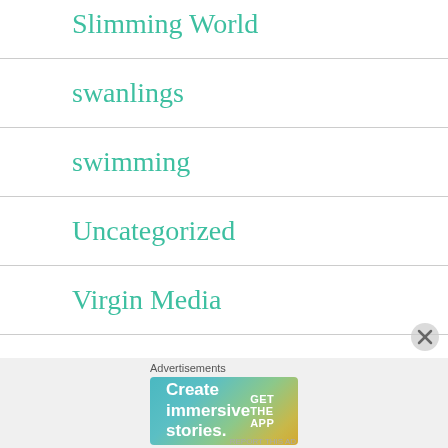Slimming World
swanlings
swimming
Uncategorized
Virgin Media
Volkswagen
Weight loss
[Figure (screenshot): WordPress advertisement banner: 'Create immersive stories. GET THE APP' with WordPress logo]
Advertisements
REPORT THIS AD